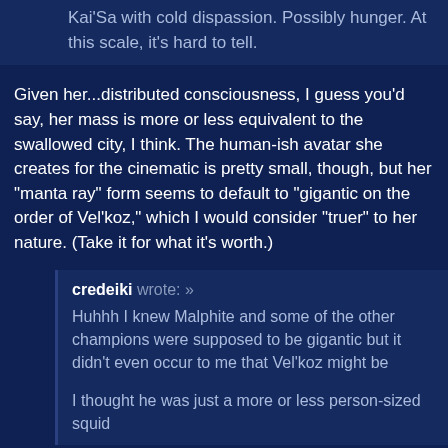Kai'Sa with cold dispassion. Possibly hunger. At this scale, it's hard to tell.
Given her...distributed consciousness, I guess you'd say, her mass is more or less equivalent to the swallowed city, I think. The human-ish avatar she creates for the cinematic is pretty small, though, but her "manta ray" form seems to default to "gigantic on the order of Vel'koz," which I would consider "truer" to her nature. (Take it for what it's worth.)
credeiki wrote: » Huhhh I knew Malphite and some of the other champions were supposed to be gigantic but it didn't even occur to me that Vel'koz might be

I thought he was just a more or less person-sized squid
I have seen that chart before and immediately forgot it.
Post edited by Jvollius on May 25